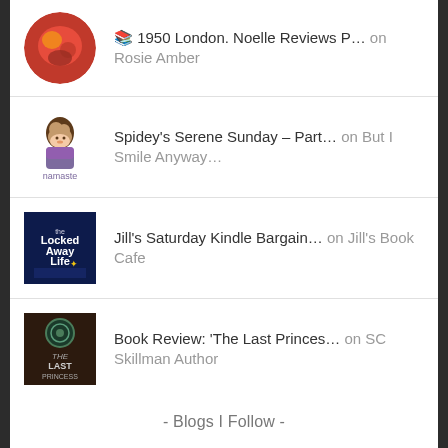📚 1950 London. Noelle Reviews P… on Rosie Amber
Spidey's Serene Sunday – Part… on But I Smile Anyway…
Jill's Saturday Kindle Bargain… on Jill's Book Cafe
Book Review: 'The Last Princes… on SC Skillman Author
- Blogs I Follow -
[Figure (illustration): Decorative handwritten scribble flourish at bottom of page]